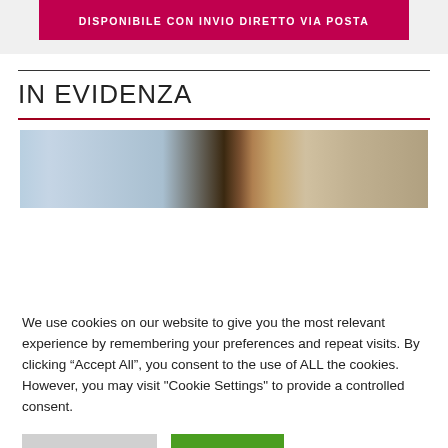[Figure (other): Red banner with white bold text: DISPONIBILE CON INVIO DIRETTO VIA POSTA]
IN EVIDENZA
[Figure (photo): Partial photograph showing a person and some background elements, cropped]
We use cookies on our website to give you the most relevant experience by remembering your preferences and repeat visits. By clicking “Accept All”, you consent to the use of ALL the cookies. However, you may visit "Cookie Settings" to provide a controlled consent.
Cookie Settings | Accept All